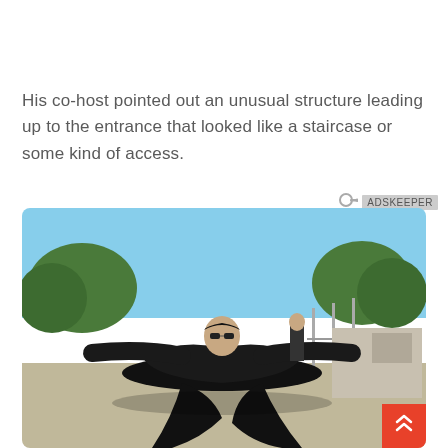His co-host pointed out an unusual structure leading up to the entrance that looked like a staircase or some kind of access.
[Figure (photo): A person in a black coat dramatically leaning/falling backward on a rooftop or flat surface, arms outstretched, wearing sunglasses. Another person stands in the background. Blue sky and trees visible. Scene resembles a movie action sequence.]